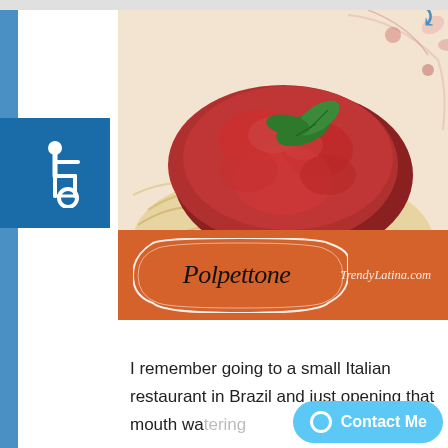[Figure (photo): Food photo showing polpettone (Italian meatloaf) with tomato sauce over spaghetti, garnished with fresh basil leaves, on a decorative plate. An orange banner overlays the bottom of the image with the dish name 'Polpettone' in a decorative badge and 'TrendyLatina.com' watermark.]
I remember going to a small Italian restaurant in Brazil and just opening that mouth wa...